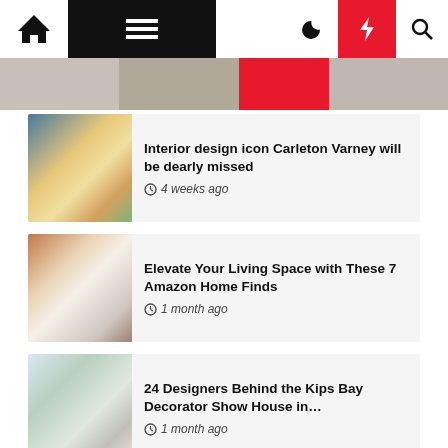Navigation bar with home, menu, dark mode, lightning/breaking, and search icons
Interior design icon Carleton Varney will be dearly missed — 4 weeks ago
Elevate Your Living Space with These 7 Amazon Home Finds — 1 month ago
24 Designers Behind the Kips Bay Decorator Show House in… — 1 month ago
DIY Ideas For Interior Design Ideas For Large Spaces — 1 month ago